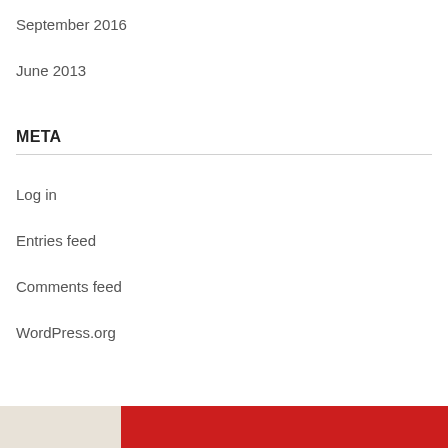September 2016
June 2013
META
Log in
Entries feed
Comments feed
WordPress.org
[Figure (photo): Bottom strip showing a partial image with beige/tan area on the left and red area on the right]